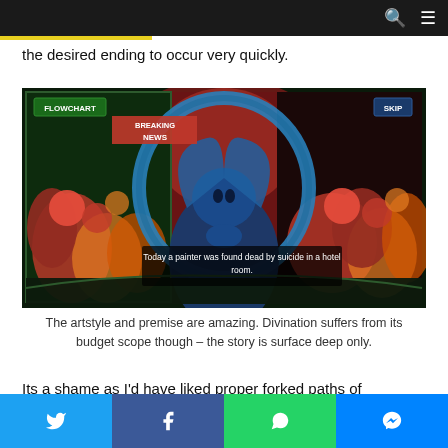the desired ending to occur very quickly.
[Figure (screenshot): Game screenshot showing a visual novel scene from Divination. A blue demonic figure kneels before a large crowd in a stylized apocalyptic art style. UI elements show 'FLOWCHART' button top-left and 'SKIP' button top-right. Subtitle text reads: 'Today a painter was found dead by suicide in a hotel room.' with 'BREAKING NEWS' overlay on left side.]
The artstyle and premise are amazing. Divination suffers from its budget scope though – the story is surface deep only.
Its a shame as I'd have liked proper forked paths of characters followed, more depth and development for them. That would have